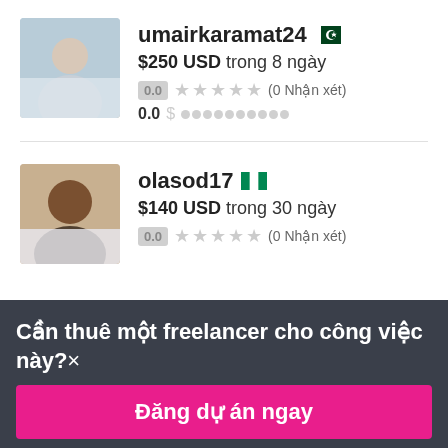umairkaramat24 🇵🇰
$250 USD trong 8 ngày
0.0 ★★★★★ (0 Nhận xét)
0.0 $
olasod17 🇳🇬
$140 USD trong 30 ngày
0.0 ★★★★★ (0 Nhận xét)
Cần thuê một freelancer cho công việc này?×
Đăng dự án ngay